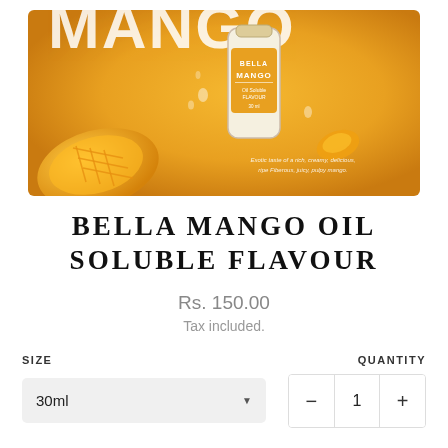[Figure (photo): Product photo of Bella Mango Oil Soluble Flavour bottle on a yellow/orange background with mango fruits and water droplets. Text on image reads 'MANGO' on the bottle label, and a tagline about exotic taste.]
BELLA MANGO OIL SOLUBLE FLAVOUR
Rs. 150.00
Tax included.
SIZE
QUANTITY
30ml
1